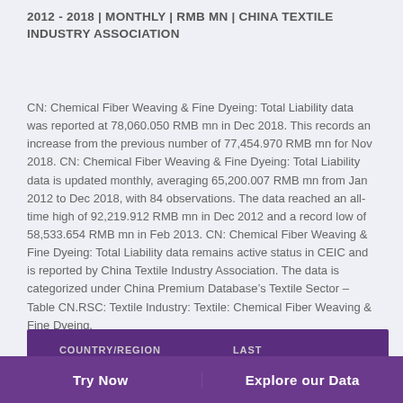2012 - 2018 | MONTHLY | RMB MN | CHINA TEXTILE INDUSTRY ASSOCIATION
CN: Chemical Fiber Weaving & Fine Dyeing: Total Liability data was reported at 78,060.050 RMB mn in Dec 2018. This records an increase from the previous number of 77,454.970 RMB mn for Nov 2018. CN: Chemical Fiber Weaving & Fine Dyeing: Total Liability data is updated monthly, averaging 65,200.007 RMB mn from Jan 2012 to Dec 2018, with 84 observations. The data reached an all-time high of 92,219.912 RMB mn in Dec 2012 and a record low of 58,533.654 RMB mn in Feb 2013. CN: Chemical Fiber Weaving & Fine Dyeing: Total Liability data remains active status in CEIC and is reported by China Textile Industry Association. The data is categorized under China Premium Database’s Textile Sector – Table CN.RSC: Textile Industry: Textile: Chemical Fiber Weaving & Fine Dyeing.
| COUNTRY/REGION | LAST |
| --- | --- |
Try Now
Explore our Data